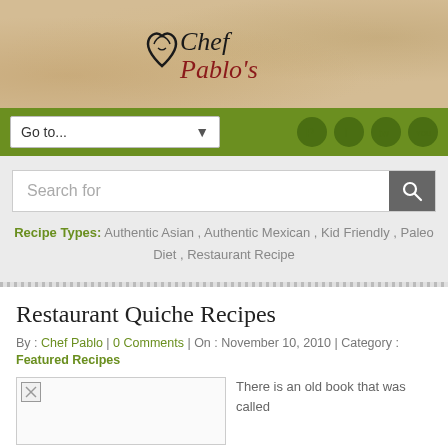Chef Pablo's
[Figure (screenshot): Navigation bar with Go to... dropdown and social media icons (Pinterest, Facebook, Twitter, YouTube)]
[Figure (screenshot): Search bar with 'Search for' placeholder text and search button]
Recipe Types: Authentic Asian , Authentic Mexican , Kid Friendly , Paleo Diet , Restaurant Recipe
Restaurant Quiche Recipes
By : Chef Pablo | 0 Comments | On : November 10, 2010 | Category : Featured Recipes
[Figure (photo): Broken image placeholder for quiche recipe photo]
There is an old book that was called